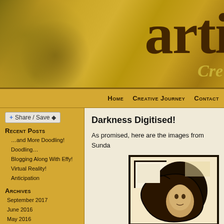[Figure (screenshot): Website header banner with golden/yellow textured background and dark brown decorative text logo 'arti' with 'Cre' subtitle below]
Home   Creative Journey   Contact
Share / Save +
Recent Posts
…and More Doodling!
Doodling…
Blogging Along With Effy!
Virtual Reality!
Anticipation
Archives
September 2017
June 2016
May 2016
April 2016
March 2016
February 2016
January 2016
December 2015
Darkness Digitised!
As promised, here are the images from Sunda
[Figure (photo): Dark artistic photo showing a circular/spiral dark form against a light background, appears to be a digitised artwork]